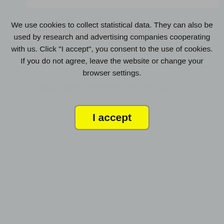[Figure (screenshot): Blue striped banner with 'Check' in large white text and a red button labeled 'prices and availability']
provided by the
living room with:
| Dining area |
| Sofa |
We use cookies to collect statistical data. They can also be used by research and advertising companies cooperating with us. Click "I accept", you consent to the use of cookies. If you do not agree, leave the website or change your browser settings.
Languages spoken by our staff:
I accept